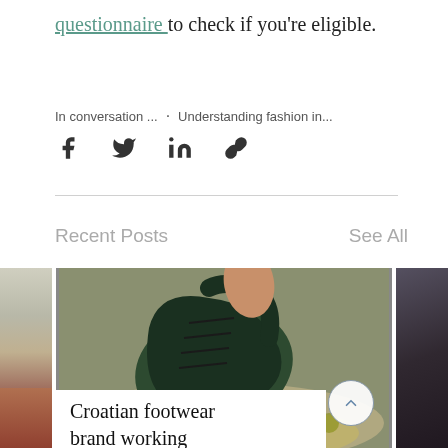questionnaire to check if you're eligible.
In conversation ...  ·  Understanding fashion in...
[Figure (infographic): Social sharing icons: Facebook, Twitter, LinkedIn, Link/copy]
Recent Posts
See All
[Figure (photo): Three blog post thumbnails side by side: left shows a floral/plant photo, center shows a close-up of a dark green leather boot on rocky ground with a scroll-up button overlay, right shows a dark textured image]
Croatian footwear brand working